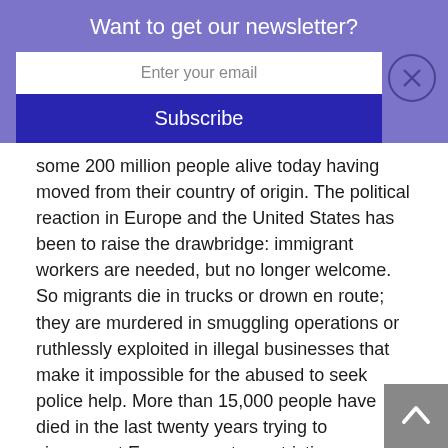Want to get our newsletter?
Enter your email
Subscribe
some 200 million people alive today having moved from their country of origin. The political reaction in Europe and the United States has been to raise the drawbridge: immigrant workers are needed, but no longer welcome. So migrants die in trucks or drown en route; they are murdered in smuggling operations or ruthlessly exploited in illegal businesses that make it impossible for the abused to seek police help. More than 15,000 people have died in the last twenty years trying to circumvent European entry restrictions.
In this beautifully written book, Jeremy Harding draws haunting portraits of the migrants – and anti-immigrant zealots – he encountered in his investigations in Europe and on the US-Mexico border. Harding's painstaking research and global perspective identify the common characteristics of immigration